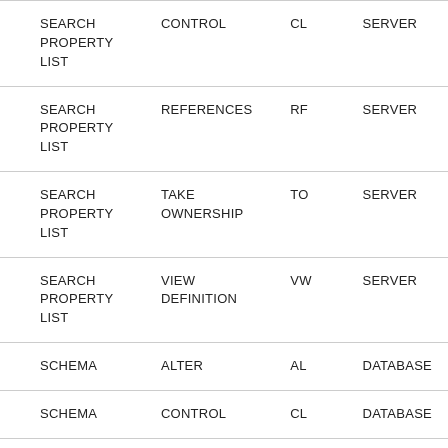| SEARCH PROPERTY LIST | CONTROL | CL | SERVER |
| SEARCH PROPERTY LIST | REFERENCES | RF | SERVER |
| SEARCH PROPERTY LIST | TAKE OWNERSHIP | TO | SERVER |
| SEARCH PROPERTY LIST | VIEW DEFINITION | VW | SERVER |
| SCHEMA | ALTER | AL | DATABASE |
| SCHEMA | CONTROL | CL | DATABASE |
| SCHEMA | CREATE | CRSO | DATABASE |